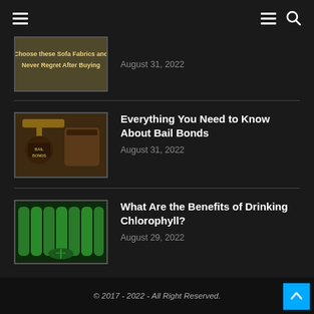Navigation header with hamburger menu and search icon
[Figure (photo): Partial thumbnail of sofa fabrics article - text overlay reading 'Choose these Sofa Fabrics and Never Regret After Buying']
August 31, 2022
Everything You Need to Know About Bail Bonds
August 31, 2022
[Figure (photo): Photo of a gavel and a wooden ball with text 'BAIL BONDS' engraved on it]
What Are the Benefits of Drinking Chlorophyll?
August 29, 2022
[Figure (photo): Photo of green chlorophyll drink bottles arranged in a row]
© 2017 - 2022 - All Right Reserved.